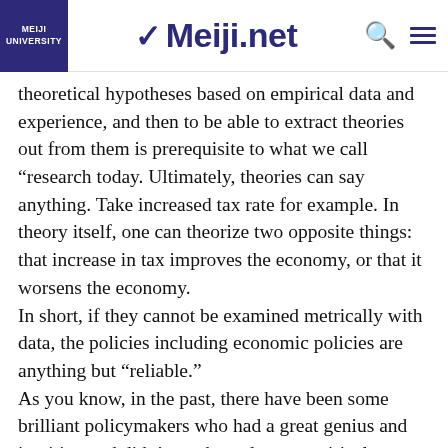MEIJI UNIVERSITY | Meiji.net
theoretical hypotheses based on empirical data and experience, and then to be able to extract theories out from them is prerequisite to what we call “research today. Ultimately, theories can say anything. Take increased tax rate for example. In theory itself, one can theorize two opposite things: that increase in tax improves the economy, or that it worsens the economy. In short, if they cannot be examined metrically with data, the policies including economic policies are anything but “reliable.”
As you know, in the past, there have been some brilliant policymakers who had a great genius and intuition and didn’t need to rely on empirical analysis to bring about economic breakthroughs to their ages. However, I believe the objective of social sciences in general, including economics, is to create a policy manual which enables any